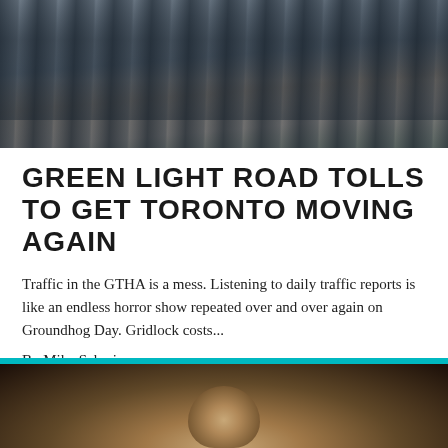[Figure (photo): Aerial/elevated view of heavy traffic congestion on a city road, many cars and vehicles packed together]
GREEN LIGHT ROAD TOLLS TO GET TORONTO MOVING AGAIN
Traffic in the GTHA is a mess. Listening to daily traffic reports is like an endless horror show repeated over and over again on Groundhog Day. Gridlock costs...
By Mike Schreiner
February 7, 2017
Transit | Road Tolls | Toronto | GTA | Traffic | Kathleen Wynne | Mike Schreiner | onpoli
[Figure (photo): Video thumbnail with teal/cyan header bar and dark background showing a partial face or figure]